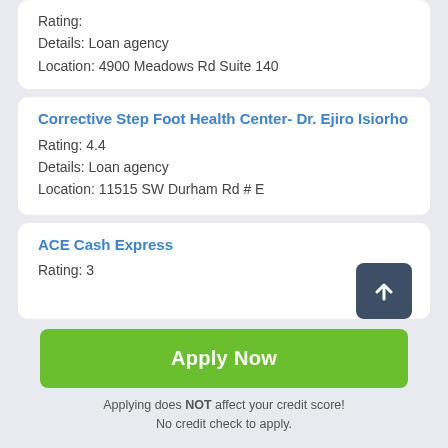Rating:
Details: Loan agency
Location: 4900 Meadows Rd Suite 140
Corrective Step Foot Health Center- Dr. Ejiro Isiorho
Rating: 4.4
Details: Loan agency
Location: 11515 SW Durham Rd # E
ACE Cash Express
Rating: 3
Apply Now
Applying does NOT affect your credit score!
No credit check to apply.